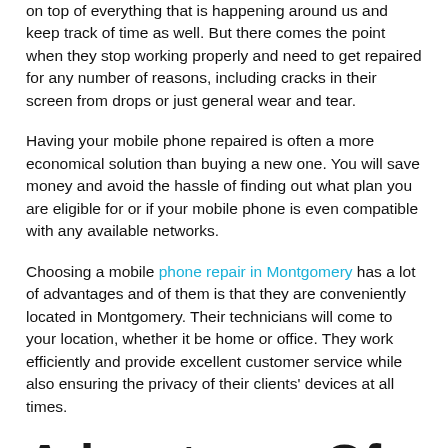on top of everything that is happening around us and keep track of time as well. But there comes the point when they stop working properly and need to get repaired for any number of reasons, including cracks in their screen from drops or just general wear and tear.
Having your mobile phone repaired is often a more economical solution than buying a new one. You will save money and avoid the hassle of finding out what plan you are eligible for or if your mobile phone is even compatible with any available networks.
Choosing a mobile phone repair in Montgomery has a lot of advantages and of them is that they are conveniently located in Montgomery. Their technicians will come to your location, whether it be home or office. They work efficiently and provide excellent customer service while also ensuring the privacy of their clients' devices at all times.
Advantages Of